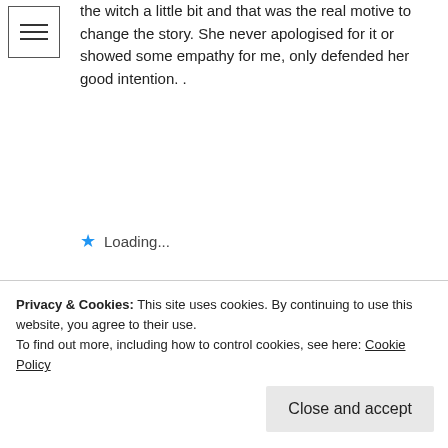[Figure (illustration): Hamburger menu icon - three horizontal lines inside a square border]
the witch a little bit and that was the real motive to change the story. She never apologised for it or showed some empathy for me, only defended her good intention. .
★ Loading...
Reply
RS says:
July 20, 2017 at 13:07
Now my brothers, that is a another story. They
Privacy & Cookies: This site uses cookies. By continuing to use this website, you agree to their use.
To find out more, including how to control cookies, see here: Cookie Policy
Close and accept